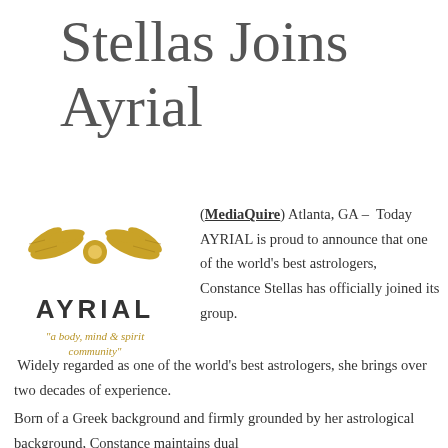Stellas Joins Ayrial
[Figure (logo): AYRIAL logo with gold leaf/wing design above the word AYRIAL in bold caps and tagline 'a body, mind & spirit community' in gold italic text]
(MediaQuire) Atlanta, GA – Today AYRIAL is proud to announce that one of the world's best astrologers, Constance Stellas has officially joined its group.
Widely regarded as one of the world's best astrologers, she brings over two decades of experience.
Born of a Greek background and firmly grounded by her astrological background, Constance maintains dual